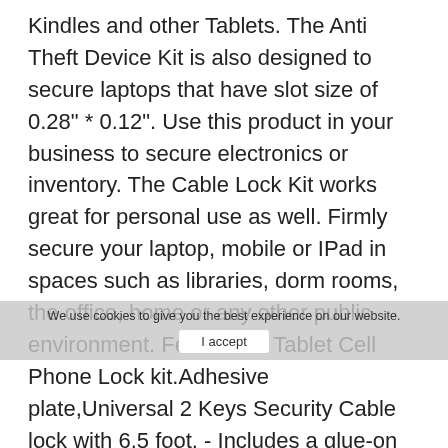Kindles and other Tablets. The Anti Theft Device Kit is also designed to secure laptops that have slot size of 0.28" * 0.12". Use this product in your business to secure electronics or inventory. The Cable Lock Kit works great for personal use as well. Firmly secure your laptop, mobile or IPad in spaces such as libraries, dorm rooms, the office, home or any other public environment. Features: - Tablet Cell Phone Lock kit.Adhesive plate,Universal 2 Keys Security Cable lock with 6.5 foot. - Includes a glue-on locking plate with a built in security slot and a strong steel cable. - Easy to use.Loop the cable around a fixed object and secure the locking head into the locking plate. - Works with all tablets, smart phones, also fits for all laptops that have slot size of 0.28" * 0.12". - Cable comes with 2 lock keys as an alternative spare. - Protect your tablet, cell phone, macbook, notebook and its valuable data with this affordable lock. Compatible with: - Available for most
We use cookies to give you the best experience on our website.